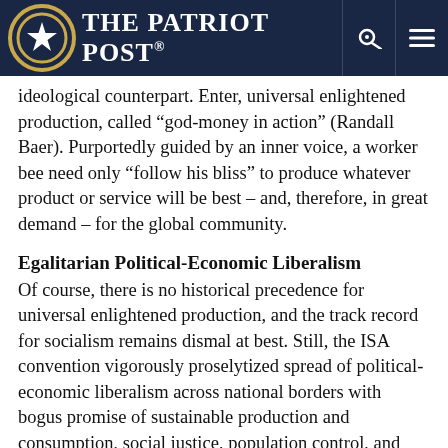The Patriot Post
ideological counterpart. Enter, universal enlightened production, called “god-money in action” (Randall Baer). Purportedly guided by an inner voice, a worker bee need only “follow his bliss” to produce whatever product or service will be best – and, therefore, in great demand – for the global community.
Egalitarian Political-Economic Liberalism
Of course, there is no historical precedence for universal enlightened production, and the track record for socialism remains dismal at best. Still, the ISA convention vigorously proselytized spread of political-economic liberalism across national borders with bogus promise of sustainable production and consumption, social justice, population control, and dispersion of power to a broader G-20. Unfortunately,